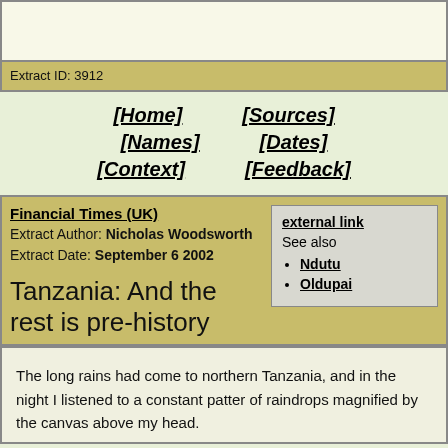Extract ID: 3912
[Home]
[Sources]
[Names]
[Dates]
[Context]
[Feedback]
Financial Times (UK)
Extract Author: Nicholas Woodsworth
Extract Date: September 6 2002
Tanzania: And the rest is pre-history
external link
See also
• Ndutu
• Oldupai
The long rains had come to northern Tanzania, and in the night I listened to a constant patter of raindrops magnified by the canvas above my head.